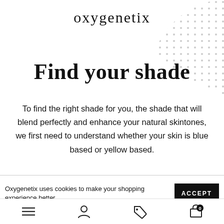[Figure (logo): oxygenetix brand logo text with small dot accent]
[Figure (illustration): Decorative dot pattern in top-right corner, quarter-circle arrangement of small dots]
Find your shade
To find the right shade for you, the shade that will blend perfectly and enhance your natural skintones, we first need to understand whether your skin is blue based or yellow based.
Oxygenetix uses cookies to make your shopping experience better.
ACCEPT
Navigation icons: menu, account, tag/coupon, cart (0)